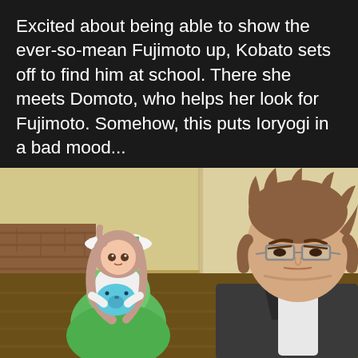Excited about being able to show the ever-so-mean Fujimoto up, Kobato sets off to find him at school. There she meets Domoto, who helps her look for Fujimoto. Somehow, this puts Ioryogi in a bad mood...
[Figure (illustration): Anime screenshot showing two characters: on the left, a small girl (Kobato) in a green dress and white hat holding a blue stuffed animal, with long pink-brown hair; on the right, a tall young man (Fujimoto) with spiky brown hair and glasses wearing a dark jacket, looking stern. Background shows a school interior with beige walls and tile floor.]